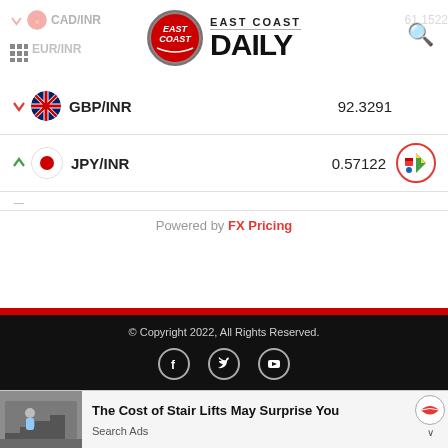[Figure (logo): East Coast Daily logo with red circular emblem and bold DAILY text]
| Pair | Rate |
| --- | --- |
| CAD/INR |  |
| EUR/INR |  |
| GBP/INR | 92.3291 |
| JPY/INR | 0.57122 |
Powered by FX Pricing
© Copyright 2022, All Rights Reserved.
[Figure (infographic): Social media icons: Facebook, Twitter, YouTube]
The Cost of Stair Lifts May Surprise You
Search Ads